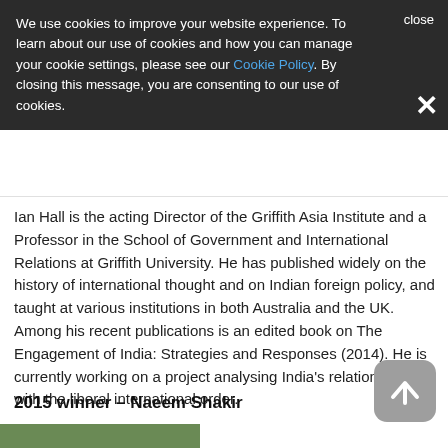We use cookies to improve your website experience. To learn about our use of cookies and how you can manage your cookie settings, please see our Cookie Policy. By closing this message, you are consenting to our use of cookies. close ×
Ian Hall is the acting Director of the Griffith Asia Institute and a Professor in the School of Government and International Relations at Griffith University. He has published widely on the history of international thought and on Indian foreign policy, and taught at various institutions in both Australia and the UK. Among his recent publications is an edited book on The Engagement of India: Strategies and Responses (2014). He is currently working on a project analysing India's relationship with the liberal international order.
2015 winner – Naeem Shakir
[Figure (photo): Partial photo strip visible at bottom of page]